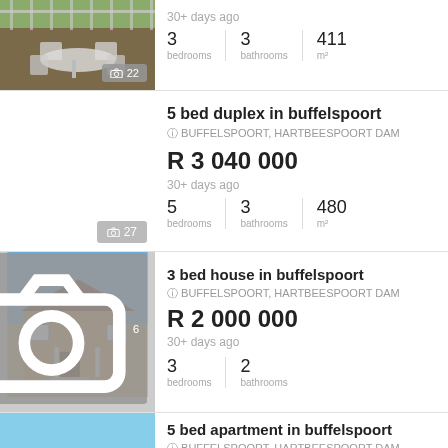[Figure (photo): Partial top listing: outdoor patio/dining area with white chairs and table, balcony railing visible, photo count badge showing 22]
30+ days ago
3 bedrooms | 3 bathrooms | 411 m²
5 bed duplex in buffelspoort
BUFFELSPOORT, HARTBEESPOORT DAM
R 3 040 000
30+ days ago
5 bedrooms | 3 bathrooms | 480 m²
3 bed house in buffelspoort
BUFFELSPOORT, HARTBEESPOORT DAM
R 2 000 000
30+ days ago
3 bedrooms | 2 bathrooms
[Figure (photo): Photo of a single-storey brick house with a porch and steps, dry landscape, photo count badge showing 6]
5 bed apartment in buffelspoort
BUFFELSPOORT, HARTBEESPOORT DAM
[Figure (photo): Partial bottom listing: light blue sky/exterior image]